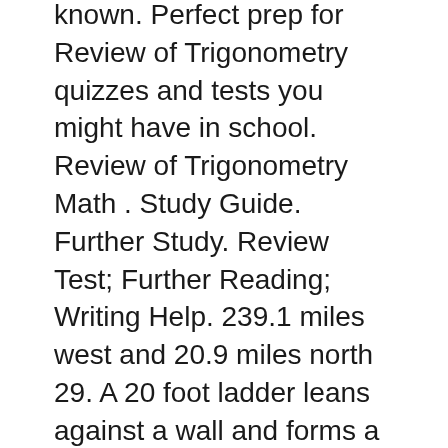known. Perfect prep for Review of Trigonometry quizzes and tests you might have in school. Review of Trigonometry Math . Study Guide. Further Study. Review Test; Further Reading; Writing Help. 239.1 miles west and 20.9 miles north 29. A 20 foot ladder leans against a wall and forms a 45 o 9/1/2015 · LCHS Math 20-1 September 2015. General Information Radical Expressions and Equations Quadratic Equations Trigonometry Rational Expressions Systems, Reciprocals and Absolute Value Sequences and Series Review Assignments General Information Math 20-1 Course Outline.
Free Trignometry worksheets includes visual aides, model problems, exploratory activities, practice problems, and an online component